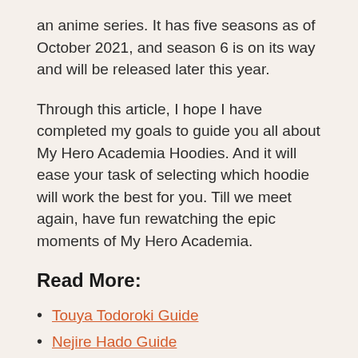an anime series. It has five seasons as of October 2021, and season 6 is on its way and will be released later this year.
Through this article, I hope I have completed my goals to guide you all about My Hero Academia Hoodies. And it will ease your task of selecting which hoodie will work the best for you. Till we meet again, have fun rewatching the epic moments of My Hero Academia.
Read More:
Touya Todoroki Guide
Nejire Hado Guide
Keigo Takami Guide